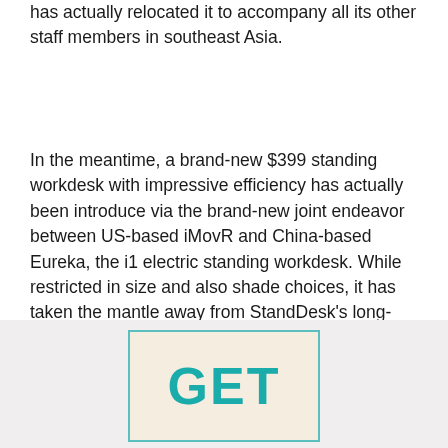has actually relocated it to accompany all its other staff members in southeast Asia.
In the meantime, a brand-new $399 standing workdesk with impressive efficiency has actually been introduce via the brand-new joint endeavor between US-based iMovR and China-based Eureka, the i1 electric standing workdesk. While restricted in size and also shade choices, it has taken the mantle away from StandDesk's long-ago condition as the very best standing workdesk under $400.
[Figure (other): Advertisement banner showing the word GET in large bold teal letters on a beige background with teal border]